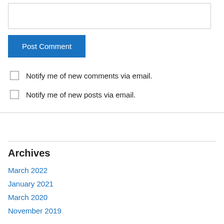Post Comment
Notify me of new comments via email.
Notify me of new posts via email.
Archives
March 2022
January 2021
March 2020
November 2019